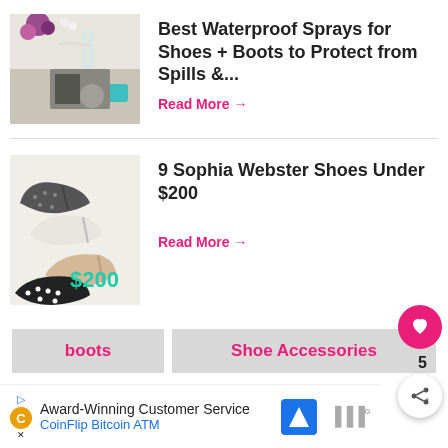[Figure (photo): Thumbnail image of shoes and accessories on a table with flowers]
Best Waterproof Sprays for Shoes + Boots to Protect from Spills &...
Read More →
[Figure (photo): Thumbnail image of Sophia Webster high heel shoes including patterned pumps and heels with $200 text overlay]
9 Sophia Webster Shoes Under $200
Read More →
boots
Shoe Accessories
Award-Winning Customer Service
CoinFlip Bitcoin ATM